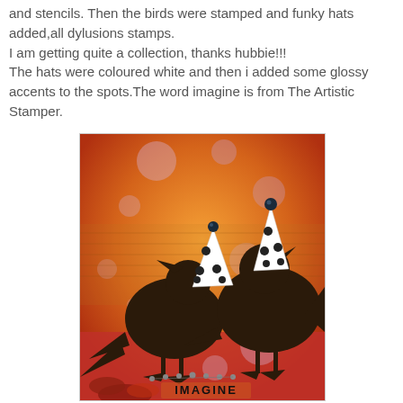and stencils. Then the birds were stamped and funky hats added,all dylusions stamps. I am getting quite a collection, thanks hubbie!!! The hats were coloured white and then i added some glossy accents to the spots.The word imagine is from The Artistic Stamper.
[Figure (photo): Art card with two dark bird silhouettes wearing white polka-dot party hats with glossy black bead accents, set against an orange and red textured background with circular stamped patterns. The word IMAGINE appears at the bottom.]